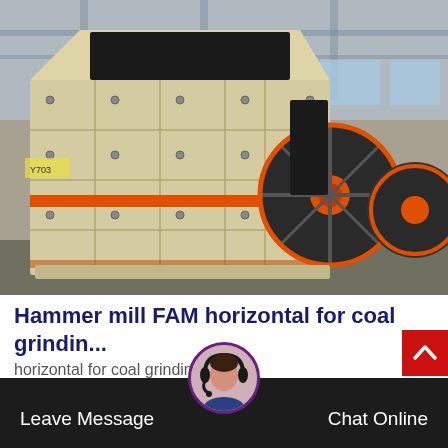[Figure (photo): Large yellow industrial hammer mill / impact crusher machine on a factory floor. The machine has a large rectangular housing with orange-trimmed access panels, multiple bolted plates, and large black flywheels with orange hubs. Industrial warehouse background with blue Chinese signage visible.]
Hammer mill FAM horizontal for coal grindin...
horizontal for coal grinding impact.https://www.gdpau.org/grind-...
[Figure (photo): Avatar of a woman wearing a headset, used as a chat support icon.]